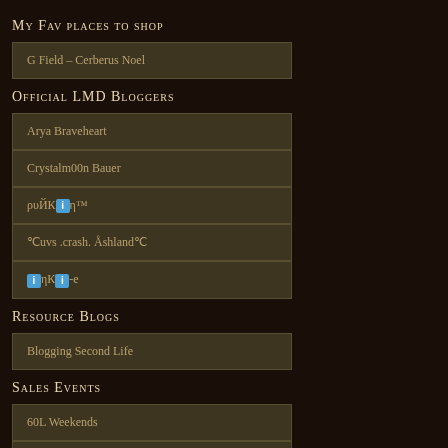My Fav places to shop
G Field – Cerberus Noel
Official LMD Bloggers
Arya Braveheart
Crystalm00n Bauer
ρυЙКiη™
℃uvs .crash. Åshland℃
iηКi-e
Resource Blogs
Blogging Second Life
Sales Events
60L Weekends
Bargains For Babies